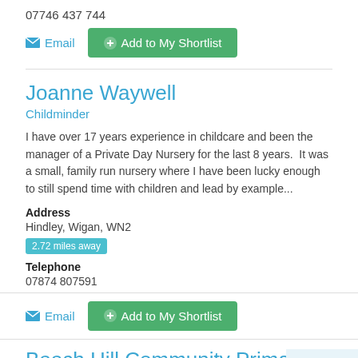07746 437 744
Email  Add to My Shortlist
Joanne Waywell
Childminder
I have over 17 years experience in childcare and been the manager of a Private Day Nursery for the last 8 years.  It was a small, family run nursery where I have been lucky enough to still spend time with children and lead by example...
Address
Hindley, Wigan, WN2
2.72 miles away
Telephone
07874 807591
Email  Add to My Shortlist
Beech Hill Community Primary School N...